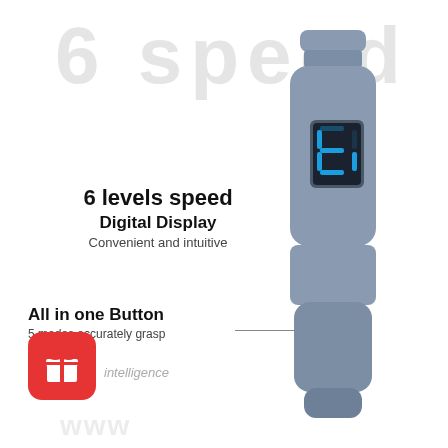6 speed
[Figure (illustration): A cylindrical handheld device (massage gun or similar) rendered in gray/silver, showing a small digital display on the front showing the digit '6' in blue LED, and a small circular button below the display. The device tapers at the top.]
6 levels speed
Digital Display
Convenient and intuitive
All in one Button
5 modes accurately grasp
[Figure (logo): Red rounded-square icon with a white gift/present box silhouette]
intelligence